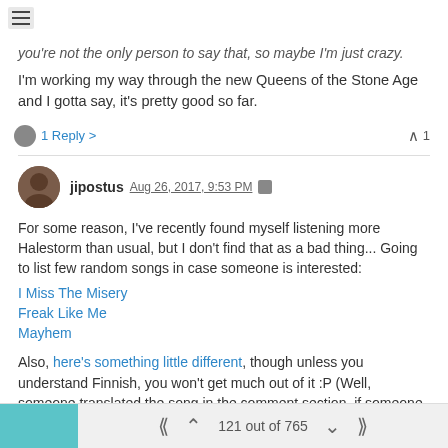you're not the only person to say that, so maybe I'm just crazy.
I'm working my way through the new Queens of the Stone Age and I gotta say, it's pretty good so far.
1 Reply > ▲ 1
jipostus Aug 26, 2017, 9:53 PM
For some reason, I've recently found myself listening more Halestorm than usual, but I don't find that as a bad thing... Going to list few random songs in case someone is interested:
I Miss The Misery
Freak Like Me
Mayhem
Also, here's something little different, though unless you understand Finnish, you won't get much out of it :P (Well, someone translated the song in the comment section, if someone is actually interested)
121 out of 765